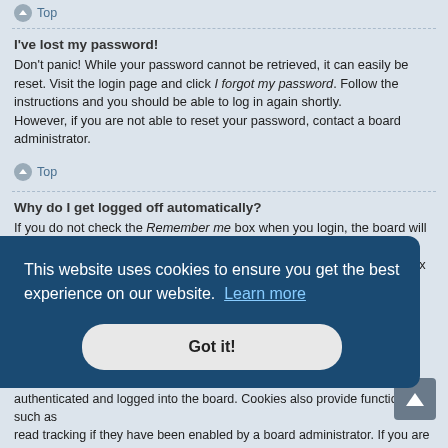↑ Top
I've lost my password!
Don't panic! While your password cannot be retrieved, it can easily be reset. Visit the login page and click I forgot my password. Follow the instructions and you should be able to log in again shortly.
However, if you are not able to reset your password, contact a board administrator.
↑ Top
Why do I get logged off automatically?
If you do not check the Remember me box when you login, the board will only keep you logged in for a preset time. This prevents misuse of your account by anyone else. To stay logged in, check the Remember me box during login. This ...e.g.
[Figure (screenshot): Cookie consent banner overlay with dark blue background reading 'This website uses cookies to ensure you get the best experience on our website. Learn more' and a 'Got it!' button]
authenticated and logged into the board. Cookies also provide functions such as read tracking if they have been enabled by a board administrator. If you are